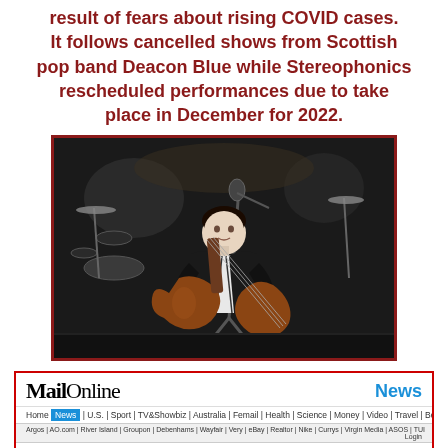result of fears about rising COVID cases. It follows cancelled shows from Scottish pop band Deacon Blue while Stereophonics rescheduled performances due to take place in December for 2022.
[Figure (photo): A male guitarist performing on stage, wearing a black leather jacket over a white shirt, playing an electric guitar in front of a microphone stand. Stage equipment visible in background.]
[Figure (screenshot): Mail Online website screenshot showing the masthead with 'Mail Online' logo and 'News' section. Navigation bar shows Home, News, U.S., Sport, TV&Showbiz, Australia, Femail, Health, Science, Money, Video, Travel, Best Buys, Discounts. Secondary navigation row visible. Headline reads: UK should go into lockdown BEFORE Christmas or it will be 'too late', warns SAGE as scientists call for a two-week ban on household mixing 'very soon' to stop Omicron Covid hospitalisations peaking at 3,000 a day and PM attends]